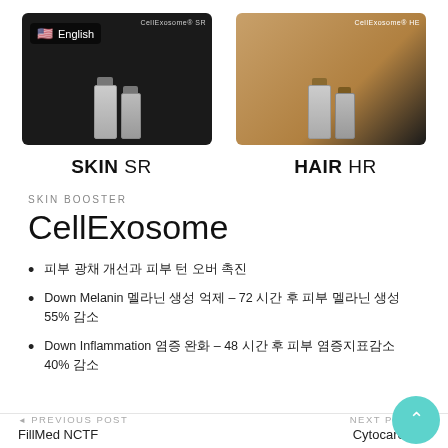[Figure (photo): Two product cards showing CellExosome SKIN SR (dark/black packaging with vials) and CellExosome HAIR HR (beige/gold packaging with vials). Left card has English language flag badge.]
SKIN SR
HAIR HR
SKIN BOOSTER
CellExosome
피부 광채 개선과 피부 턴 오버 촉진
Down Melanin 멜라닌 생성 억제 – 72 시간 후 피부 멜라닌 생성 55% 감소
Down Inflammation 염증 완화 – 48 시간 후 피부 염증지표감소 40% 감소
◄ PREVIOUS POST
FillMed NCTF
NEXT POST ►
Cytocare 532